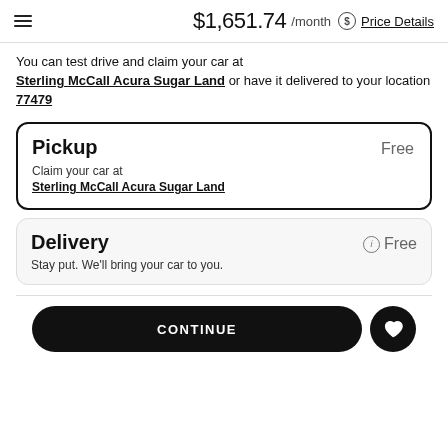$1,651.74 /month  Price Details
You can test drive and claim your car at Sterling McCall Acura Sugar Land or have it delivered to your location 77479
Pickup
Claim your car at Sterling McCall Acura Sugar Land
Free
Delivery
Stay put. We'll bring your car to you.
Free
CONTINUE